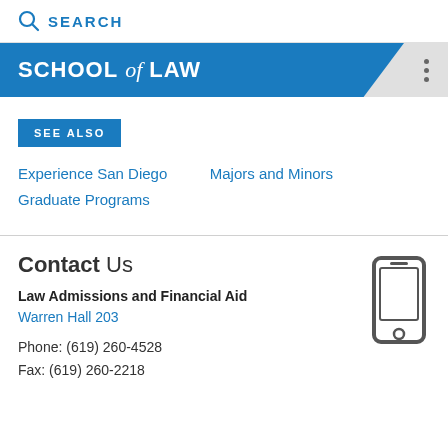SEARCH
SCHOOL of LAW
SEE ALSO
Experience San Diego
Majors and Minors
Graduate Programs
Contact Us
Law Admissions and Financial Aid
Warren Hall 203
Phone: (619) 260-4528
Fax: (619) 260-2218
[Figure (illustration): Mobile phone icon]